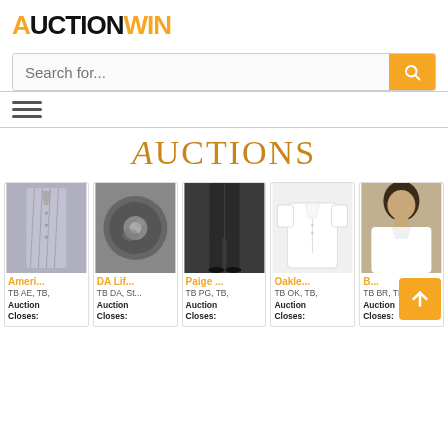AUCTIONWIN
[Figure (screenshot): Search bar with placeholder text 'Search for...' and an orange search button with magnifying glass icon]
[Figure (infographic): Hamburger menu icon (three horizontal lines)]
Auctions
[Figure (photo): Striped dress shirt on a mannequin]
Ameri...
TB AE, TB,
Auction Closes:
[Figure (photo): Close-up of a circular metallic object, possibly a wheel hub or drain]
DA Lif...
TB DA, St...
Auction Closes:
[Figure (photo): Person wearing dark slim jeans, standing, showing lower body]
Paige ...
TB PG, TB,
Auction Closes:
[Figure (photo): White polo shirt on a light background]
Oakle...
TB OK, TB,
Auction Closes:
[Figure (photo): Male model wearing a white polo shirt]
B...
TB BR, TB,
Auction Closes: